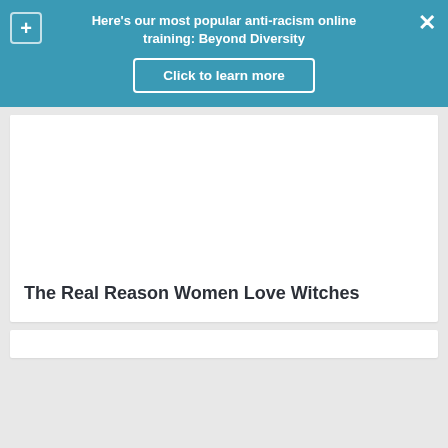Here's our most popular anti-racism online training: Beyond Diversity
Click to learn more
[Figure (other): Blank white image placeholder area inside a card]
The Real Reason Women Love Witches
[Figure (other): Blank white card placeholder at bottom]